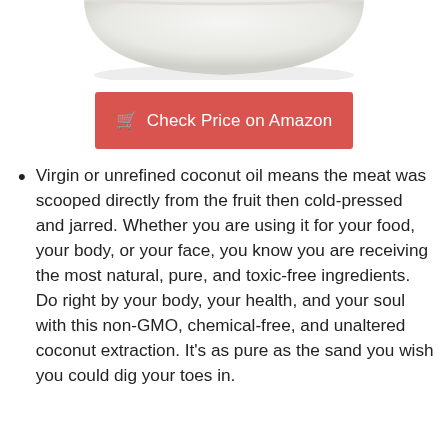[Figure (photo): Bottom portion of a white ceramic bowl visible at the top of the page against a white background.]
Check Price on Amazon
Virgin or unrefined coconut oil means the meat was scooped directly from the fruit then cold-pressed and jarred. Whether you are using it for your food, your body, or your face, you know you are receiving the most natural, pure, and toxic-free ingredients. Do right by your body, your health, and your soul with this non-GMO, chemical-free, and unaltered coconut extraction. It’s as pure as the sand you wish you could dig your toes in.